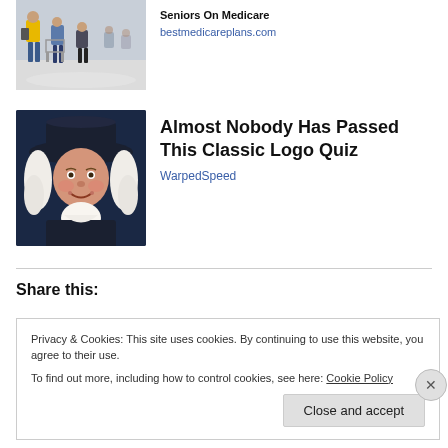[Figure (photo): Photo of elderly people walking in a hospital/store corridor, one person in yellow jacket]
bestmedicareplans.com
[Figure (illustration): Illustration of a Quaker Oats-style figure wearing a dark hat with white colonial wig and cravat]
Almost Nobody Has Passed This Classic Logo Quiz
WarpedSpeed
Share this:
Privacy & Cookies: This site uses cookies. By continuing to use this website, you agree to their use.
To find out more, including how to control cookies, see here: Cookie Policy